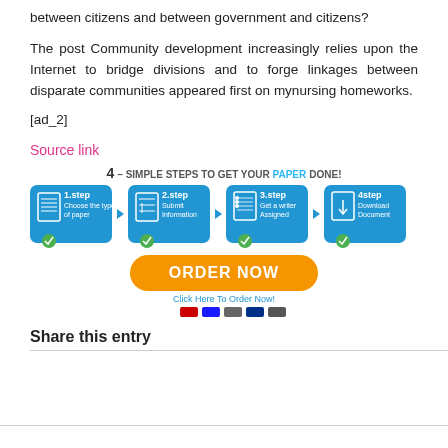between citizens and between government and citizens?
The post Community development increasingly relies upon the Internet to bridge divisions and to forge linkages between disparate communities appeared first on mynursing homeworks.
[ad_2]
Source link
[Figure (infographic): 4-step infographic banner: 4- SIMPLE STEPS TO GET YOUR PAPER DONE! Step 1: Choose the type of paper, Step 2: Submit Information, Step 3: Get a writer Assigned, Step 4: Download Document. Orange ORDER NOW button with Click Here To Order Now! text and payment icons below.]
Share this entry